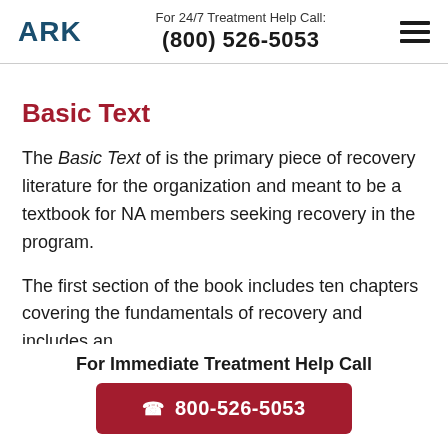ARK | For 24/7 Treatment Help Call: (800) 526-5053
Basic Text
The Basic Text of is the primary piece of recovery literature for the organization and meant to be a textbook for NA members seeking recovery in the program.
The first section of the book includes ten chapters covering the fundamentals of recovery and includes an
For Immediate Treatment Help Call
800-526-5053